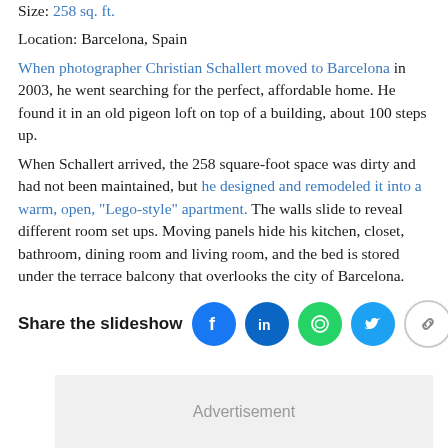Size: 258 sq. ft.
Location: Barcelona, Spain
When photographer Christian Schallert moved to Barcelona in 2003, he went searching for the perfect, affordable home. He found it in an old pigeon loft on top of a building, about 100 steps up.
When Schallert arrived, the 258 square-foot space was dirty and had not been maintained, but he designed and remodeled it into a warm, open, "Lego-style" apartment. The walls slide to reveal different room set ups. Moving panels hide his kitchen, closet, bathroom, dining room and living room, and the bed is stored under the terrace balcony that overlooks the city of Barcelona.
Share the slideshow
[Figure (infographic): Social sharing icons: Facebook (blue circle), LinkedIn (dark blue circle), WhatsApp (green circle), Twitter (light blue circle), Link/copy (white circle with chain link icon)]
Advertisement